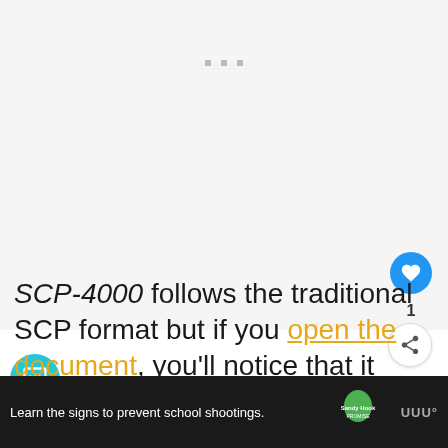[Figure (other): Top whitespace/placeholder area with three small gray dots (loading indicator)]
SCP-4000 follows the traditional SCP format but if you open the document, you'll notice that it uses colored text to indicate names for objects, locations, and creatures.
[Figure (screenshot): What's Next overlay showing 'Power Your Mind With...' article thumbnail]
[Figure (other): Bottom advertisement bar: 'Learn the signs to prevent school shootings.' with Sandy Hook Promise logo]